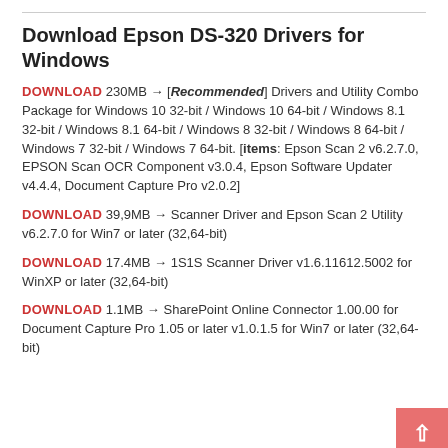Download Epson DS-320 Drivers for Windows
DOWNLOAD 230MB → [Recommended] Drivers and Utility Combo Package for Windows 10 32-bit / Windows 10 64-bit / Windows 8.1 32-bit / Windows 8.1 64-bit / Windows 8 32-bit / Windows 8 64-bit / Windows 7 32-bit / Windows 7 64-bit. [items: Epson Scan 2 v6.2.7.0, EPSON Scan OCR Component v3.0.4, Epson Software Updater v4.4.4, Document Capture Pro v2.0.2]
DOWNLOAD 39,9MB → Scanner Driver and Epson Scan 2 Utility v6.2.7.0 for Win7 or later (32,64-bit)
DOWNLOAD 17.4MB → 1S1S Scanner Driver v1.6.11612.5002 for WinXP or later (32,64-bit)
DOWNLOAD 1.1MB → SharePoint Online Connector 1.00.00 for Document Capture Pro 1.05 or later v1.0.1.5 for Win7 or later (32,64-bit)